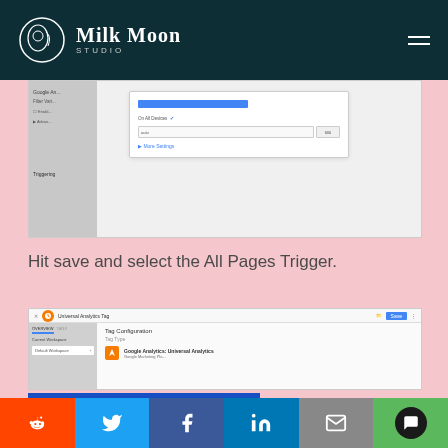[Figure (screenshot): Milk Moon Studio website header with logo and hamburger menu on dark teal background]
[Figure (screenshot): Google Tag Manager interface showing tag configuration with On All Devices checkbox, input field, and More Settings option]
Hit save and select the All Pages Trigger.
[Figure (screenshot): Google Tag Manager interface showing Universal Analytics Tag configuration with Tag Configuration panel and Google Analytics: Universal Analytics tag type selected]
[Figure (screenshot): Professional Partner banner in blue]
[Figure (screenshot): Social sharing bar with Reddit, Twitter, Facebook, LinkedIn, Email, and Chat buttons]